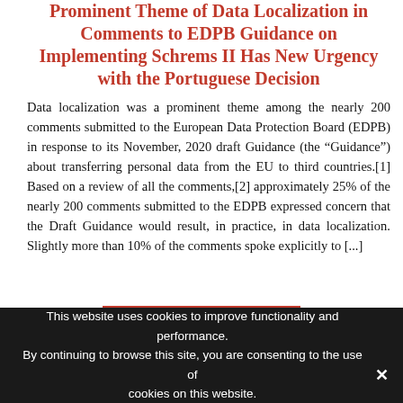Prominent Theme of Data Localization in Comments to EDPB Guidance on Implementing Schrems II Has New Urgency with the Portuguese Decision
Data localization was a prominent theme among the nearly 200 comments submitted to the European Data Protection Board (EDPB) in response to its November, 2020 draft Guidance (the “Guidance”) about transferring personal data from the EU to third countries.[1] Based on a review of all the comments,[2] approximately 25% of the nearly 200 comments submitted to the EDPB expressed concern that the Draft Guidance would result, in practice, in data localization. Slightly more than 10% of the comments spoke explicitly to [...]
[Figure (other): Red button labeled 'Read the Post']
This website uses cookies to improve functionality and performance. By continuing to browse this site, you are consenting to the use of cookies on this website.